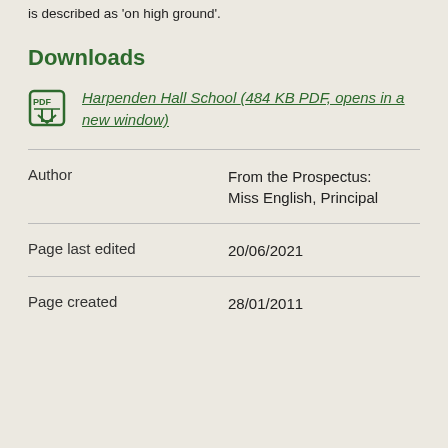is described as 'on high ground'.
Downloads
Harpenden Hall School (484 KB PDF, opens in a new window)
| Field | Value |
| --- | --- |
| Author | From the Prospectus: Miss English, Principal |
| Page last edited | 20/06/2021 |
| Page created | 28/01/2011 |